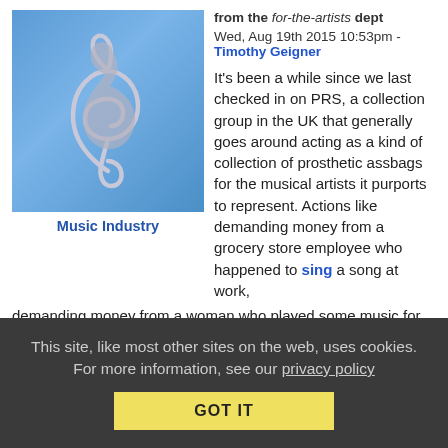[Figure (illustration): Music treble clef symbol on blue gradient background]
Music Industry
from the for-the-artists dept
Wed, Aug 19th 2015 10:53pm - Timothy Geigner
It's been a while since we last checked in on PRS, a collection group in the UK that generally goes around acting as a kind of collection of prosthetic assbags for the musical artists it purports to represent. Actions like demanding money from a grocery store employee who happened to sing a song at work, demanding money from a woman who played some music for her horses, and demanding payment from small businesses it calls up on the off chance it might hear some music being played far off in the background are all taken under the theory that PRS has the best interests of the musical artists at heart. The problem with this theory is two-fold. First, it appears that, for a collection society, PRS is very terrible at collecting money, seeing as it has come to light that it doesn't have enough money for a copyright tribunal hearing over
This site, like most other sites on the web, uses cookies. For more information, see our privacy policy
GOT IT